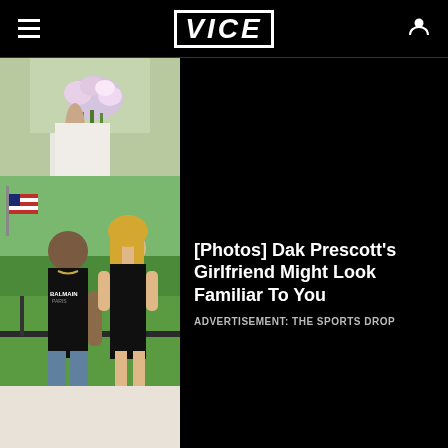VICE
[Figure (photo): Partial photo showing a person in white holding flowers, cropped at top]
[Figure (photo): Dak Prescott and his girlfriend posing outdoors, man in black Balmain shirt and woman in black dress, American flag in background]
[Photos] Dak Prescott's Girlfriend Might Look Familiar To You
ADVERTISEMENT: THE SPORTS DROP
[Figure (photo): A smart bed with beige upholstery, featuring built-in speakers, storage, and technology components]
The Best Smart Beds in 2022 (View Now)
ADVERTISEMENT: SMART BED | SEARCH...